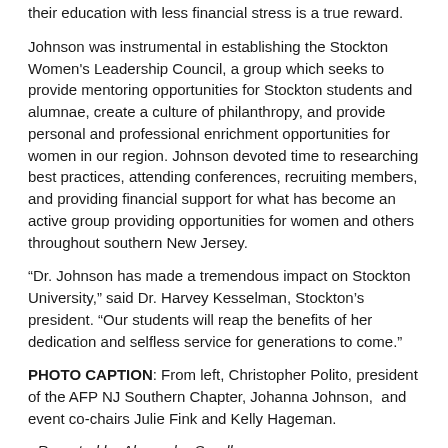their education with less financial stress is a true reward.
Johnson was instrumental in establishing the Stockton Women's Leadership Council, a group which seeks to provide mentoring opportunities for Stockton students and alumnae, create a culture of philanthropy, and provide personal and professional enrichment opportunities for women in our region. Johnson devoted time to researching best practices, attending conferences, recruiting members, and providing financial support for what has become an active group providing opportunities for women and others throughout southern New Jersey.
“Dr. Johnson has made a tremendous impact on Stockton University,” said Dr. Harvey Kesselman, Stockton’s president. “Our students will reap the benefits of her dedication and selfless service for generations to come.”
PHOTO CAPTION: From left, Christopher Polito, president of the AFP NJ Southern Chapter, Johanna Johnson,  and event co-chairs Julie Fink and Kelly Hageman.
- Reported by Alexandra Sandberg
# # #
Contact: